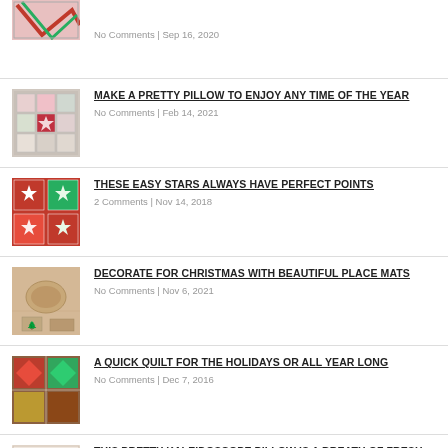No Comments | Sep 16, 2020
MAKE A PRETTY PILLOW TO ENJOY ANY TIME OF THE YEAR
No Comments | Feb 14, 2021
THESE EASY STARS ALWAYS HAVE PERFECT POINTS
2 Comments | Nov 14, 2018
DECORATE FOR CHRISTMAS WITH BEAUTIFUL PLACE MATS
No Comments | Nov 6, 2021
A QUICK QUILT FOR THE HOLIDAYS OR ALL YEAR LONG
No Comments | Dec 7, 2016
THIS PRETTY KALEIDOSCOPE PILLOW IS A BREATH OF FRESH AIR
No Comments | Dec 21, 2015